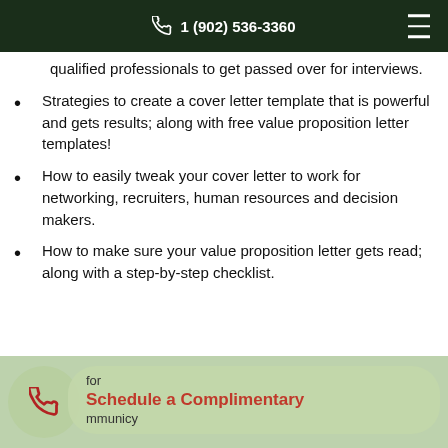1 (902) 536-3360
qualified professionals to get passed over for interviews.
Strategies to create a cover letter template that is powerful and gets results; along with free value proposition letter templates!
How to easily tweak your cover letter to work for networking, recruiters, human resources and decision makers.
How to make sure your value proposition letter gets read; along with a step-by-step checklist.
Schedule a Complimentary